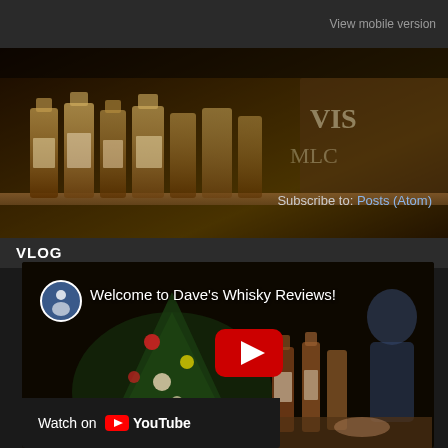View mobile version
[Figure (photo): Whisky bottles on a shelf with amber/dark brown tones]
Subscribe to: Posts (Atom)
VLOG
[Figure (screenshot): YouTube video embed: Welcome to Dave's Whisky Reviews! — showing Christmas tree with whisky bottles and a YouTube play button overlay]
Watch on YouTube